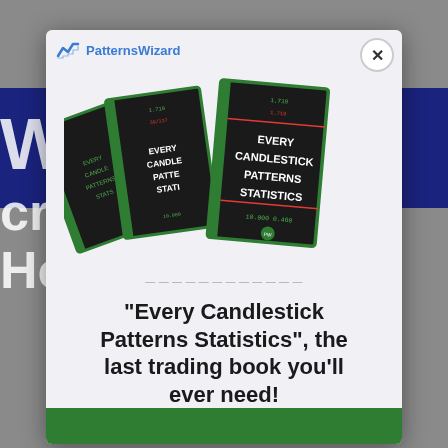[Figure (photo): Modal popup over a grey/dark background showing a website page. The background has a blue horizontal band and partially visible large white text ('W', 'cryp', 'How to trac'). The modal contains a PatternsWizard logo, close button (×), three stacked book covers titled 'Every Candlestick Patterns Statistics', and promotional text below.]
PatternsWizard
"Every Candlestick Patterns Statistics", the last trading book you'll ever need!